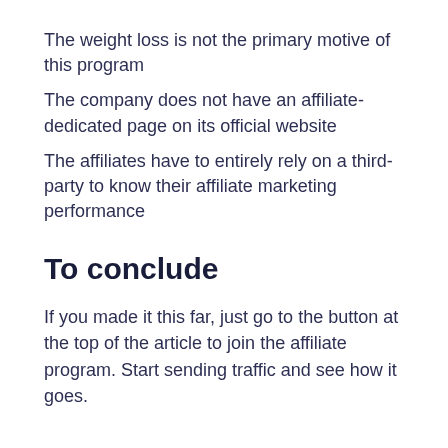The weight loss is not the primary motive of this program
The company does not have an affiliate-dedicated page on its official website
The affiliates have to entirely rely on a third-party to know their affiliate marketing performance
To conclude
If you made it this far, just go to the button at the top of the article to join the affiliate program. Start sending traffic and see how it goes.